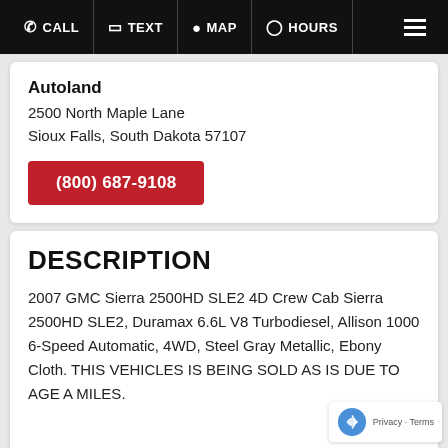CALL | TEXT | MAP | HOURS
Autoland
2500 North Maple Lane
Sioux Falls, South Dakota 57107
(800) 687-9108
DESCRIPTION
2007 GMC Sierra 2500HD SLE2 4D Crew Cab Sierra 2500HD SLE2, Duramax 6.6L V8 Turbodiesel, Allison 1000 6-Speed Automatic, 4WD, Steel Gray Metallic, Ebony Cloth. THIS VEHICLES IS BEING SOLD AS IS DUE TO AGE A MILES.